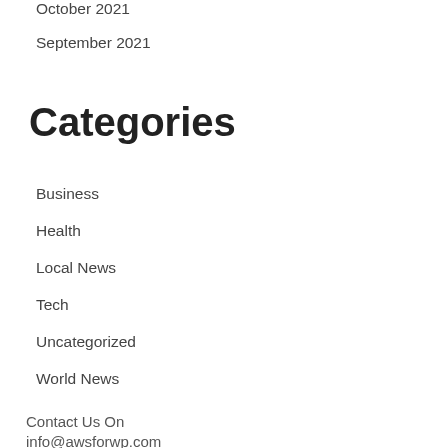October 2021
September 2021
Categories
Business
Health
Local News
Tech
Uncategorized
World News
Contact Us On
info@awsforwp.com